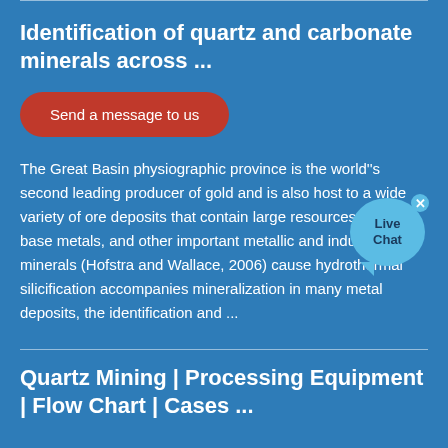Identification of quartz and carbonate minerals across ...
Send a message to us
The Great Basin physiographic province is the world''s second leading producer of gold and is also host to a wide variety of ore deposits that contain large resources of silver, base metals, and other important metallic and industrial minerals (Hofstra and Wallace, 2006) cause hydrothermal silicification accompanies mineralization in many metal deposits, the identification and ...
Quartz Mining | Processing Equipment | Flow Chart | Cases ...